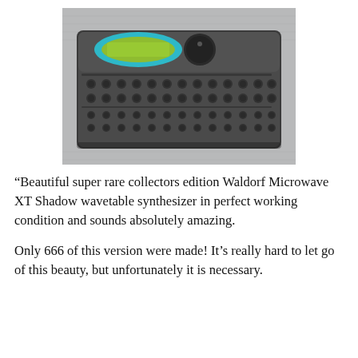[Figure (photo): Photo of a Waldorf Microwave XT Shadow wavetable synthesizer, a dark grey desktop module with many grey knobs arranged in rows, a teal/cyan oval display panel on the upper left, and a large encoder knob. The device is photographed on a grey fabric surface.]
“Beautiful super rare collectors edition Waldorf Microwave XT Shadow wavetable synthesizer in perfect working condition and sounds absolutely amazing.
Only 666 of this version were made! It’s really hard to let go of this beauty, but unfortunately it is necessary.